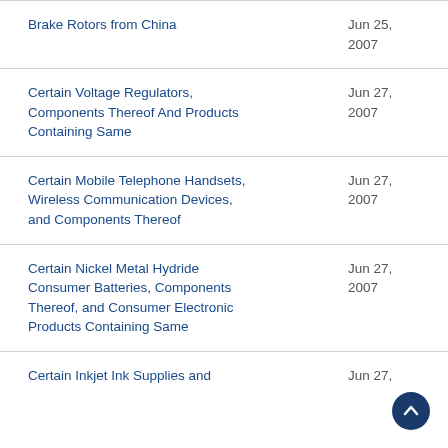Brake Rotors from China	Jun 25, 2007
Certain Voltage Regulators, Components Thereof And Products Containing Same	Jun 27, 2007
Certain Mobile Telephone Handsets, Wireless Communication Devices, and Components Thereof	Jun 27, 2007
Certain Nickel Metal Hydride Consumer Batteries, Components Thereof, and Consumer Electronic Products Containing Same	Jun 27, 2007
Certain Inkjet Ink Supplies and	Jun 27,